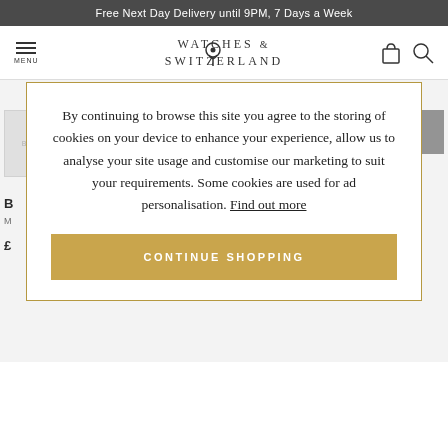Free Next Day Delivery until 9PM, 7 Days a Week
[Figure (logo): Watches of Switzerland logo with navigation icons (hamburger menu, location pin, shopping bag, search)]
By continuing to browse this site you agree to the storing of cookies on your device to enhance your experience, allow us to analyse your site usage and customise our marketing to suit your requirements. Some cookies are used for ad personalisation. Find out more
CONTINUE SHOPPING